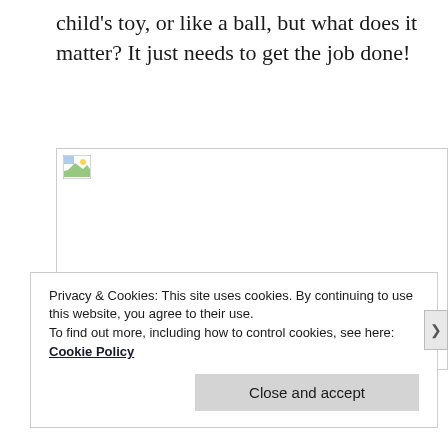child's toy, or like a ball, but what does it matter? It just needs to get the job done!
[Figure (photo): Broken/missing image placeholder with small image icon in top-left corner]
Privacy & Cookies: This site uses cookies. By continuing to use this website, you agree to their use.
To find out more, including how to control cookies, see here: Cookie Policy
Close and accept